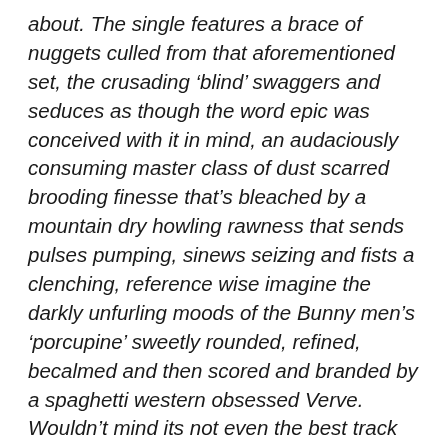about. The single features a brace of nuggets culled from that aforementioned set, the crusading ‘blind’ swaggers and seduces as though the word epic was conceived with it in mind, an audaciously consuming master class of dust scarred brooding finesse that’s bleached by a mountain dry howling rawness that sends pulses pumping, sinews seizing and fists a clenching, reference wise imagine the darkly unfurling moods of the Bunny men’s ‘porcupine’ sweetly rounded, refined, becalmed and then scored and branded by a spaghetti western obsessed Verve. Wouldn’t mind its not even the best track here for ‘sister’ earns whatever spurs are to be had. A gorgeously tear stained slice of glassy eyed forlorn redemption soul pop tentatively spiked by the honey glazed opine of subtle hymnal motifs and the sugar laced chill of 60’s west coast motifs. So tell me again – what is there not to like.